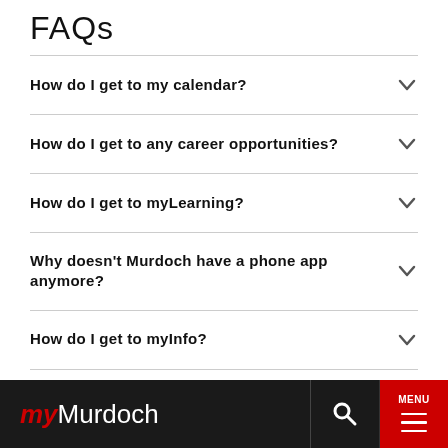FAQs
How do I get to my calendar?
How do I get to any career opportunities?
How do I get to myLearning?
Why doesn't Murdoch have a phone app anymore?
How do I get to myInfo?
my Murdoch  [search] MENU